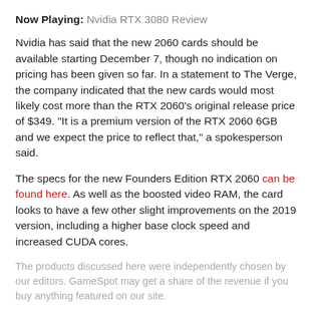Now Playing: Nvidia RTX 3080 Review
Nvidia has said that the new 2060 cards should be available starting December 7, though no indication on pricing has been given so far. In a statement to The Verge, the company indicated that the new cards would most likely cost more than the RTX 2060's original release price of $349. "It is a premium version of the RTX 2060 6GB and we expect the price to reflect that," a spokesperson said.
The specs for the new Founders Edition RTX 2060 can be found here. As well as the boosted video RAM, the card looks to have a few other slight improvements on the 2019 version, including a higher base clock speed and increased CUDA cores.
The products discussed here were independently chosen by our editors. GameSpot may get a share of the revenue if you buy anything featured on our site.
Got a news tip or want to contact us directly? Email news@gamespot.com